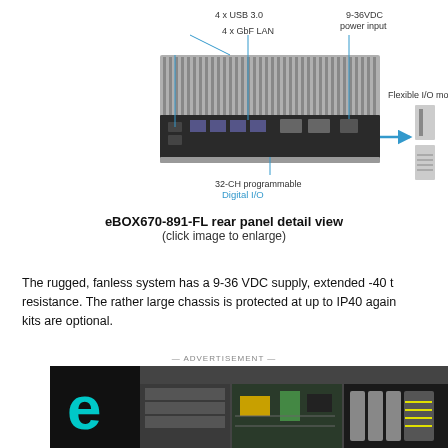[Figure (schematic): eBOX670-891-FL rear panel detail view showing 4x USB 3.0, 4x GbE LAN, 9-36VDC power input, 32-CH programmable Digital I/O, and Flexible I/O module slots with labeled callouts]
eBOX670-891-FL rear panel detail view (click image to enlarge)
The rugged, fanless system has a 9-36 VDC supply, extended -40 to resistance. The rather large chassis is protected at up to IP40 again kits are optional.
[Figure (advertisement): Advertisement banner with cyan letter C logo on black background and text INFORMATION to make SMA... with circuit board and electronics images]